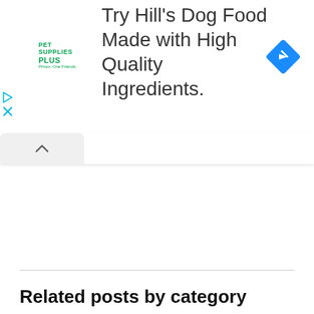[Figure (screenshot): Advertisement banner for Pet Supplies Plus promoting Hill's Dog Food Made with High Quality Ingredients. Contains Pet Supplies Plus logo on left, ad text in center, and a blue diamond direction arrow icon on right. Play and close (X) buttons on far left.]
[Figure (screenshot): Browser tab bar showing a tab with an up-arrow (collapse) chevron icon on a light grey rounded tab.]
Related posts by category